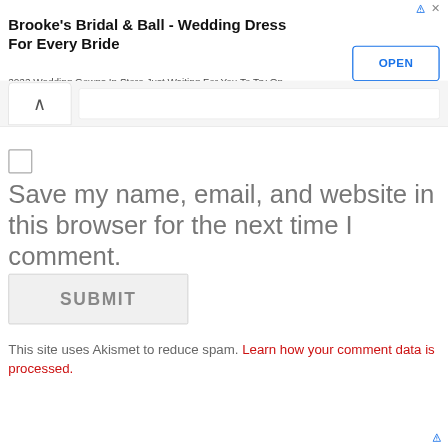[Figure (screenshot): Advertisement banner for Brooke's Bridal & Ball with OPEN button]
Brooke's Bridal & Ball - Wedding Dress For Every Bride
2022 Wedding Gowns In Store Just Waiting For You To Try On. Stunning Collections. brookesbridalandball.com/Bridal/Gowns
Save my name, email, and website in this browser for the next time I comment.
SUBMIT
This site uses Akismet to reduce spam. Learn how your comment data is processed.